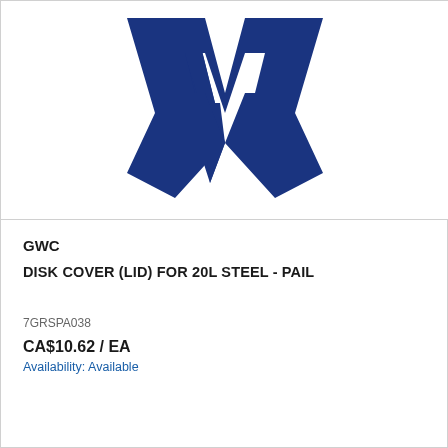[Figure (logo): GWC company logo — a dark navy blue stylized double-W mark on a white background]
GWC
DISK COVER (LID) FOR 20L STEEL - PAIL
7GRSPA038
CA$10.62 / EA
Availability: Available